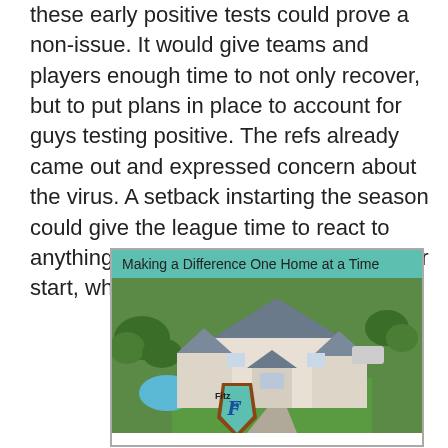these early positive tests could prove a non-issue. It would give teams and players enough time to not only recover, but to put plans in place to account for guys testing positive. The refs already came out and expressed concern about the virus. A setback instarting the season could give the league time to react to anything that may negatively impact their start, whether on time or not.
[Figure (photo): Advertisement for 'Fitz' roofing/home services company showing aerial view of a large white house with dark gray shingled roofs, green lawn, pool, and a shield-shaped logo with 'Fitz' branding. Header text reads 'Making a Difference One Home at a Time' on a teal/mint background.]